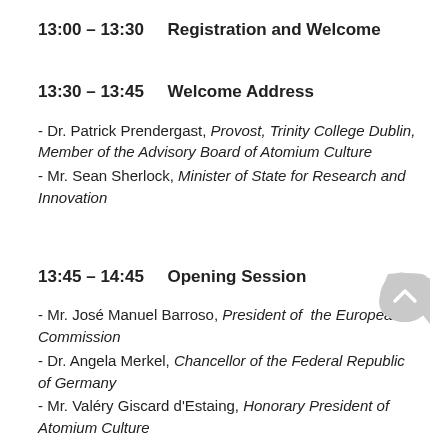13:00 – 13:30    Registration and Welcome
13:30 – 13:45    Welcome Address
- Dr. Patrick Prendergast, Provost, Trinity College Dublin, Member of the Advisory Board of Atomium Culture
- Mr. Sean Sherlock, Minister of State for Research and Innovation
13:45 – 14:45    Opening Session
- Mr. José Manuel Barroso, President of the European Commission
- Dr. Angela Merkel, Chancellor of the Federal Republic of Germany
- ​Mr. Valéry Giscard d'Estaing, Honorary President of Atomium Culture